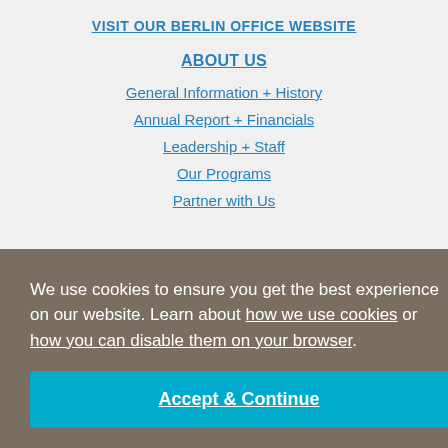VISIT OUR BERLIN OFFICE WEBSITE
ABOUT US
General Information + History
Annual Report + Financials
Leadership + Staff
Our Programs
Partner with Us
We use cookies to ensure you get the best experience on our website. Learn about how we use cookies or how you can disable them on your browser.
Accept & Continue